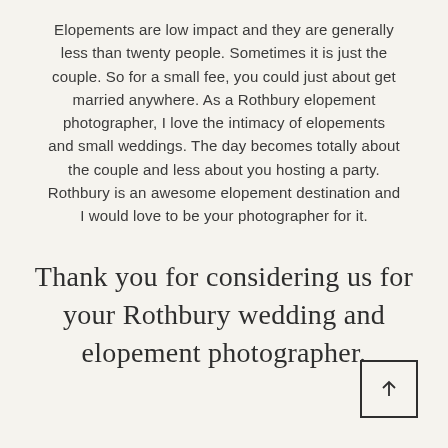Elopements are low impact and they are generally less than twenty people. Sometimes it is just the couple. So for a small fee, you could just about get married anywhere. As a Rothbury elopement photographer, I love the intimacy of elopements and small weddings. The day becomes totally about the couple and less about you hosting a party. Rothbury is an awesome elopement destination and I would love to be your photographer for it.
Thank you for considering us for your Rothbury wedding and elopement photographer.